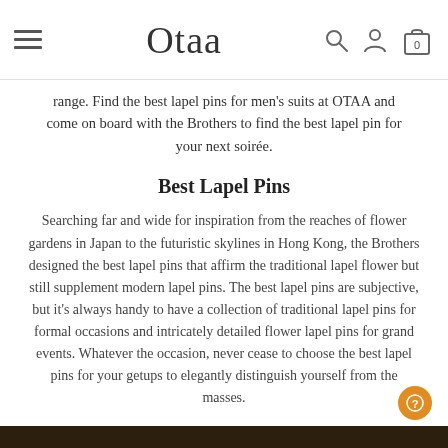Otaa
range. Find the best lapel pins for men's suits at OTAA and come on board with the Brothers to find the best lapel pin for your next soirée.
Best Lapel Pins
Searching far and wide for inspiration from the reaches of flower gardens in Japan to the futuristic skylines in Hong Kong, the Brothers designed the best lapel pins that affirm the traditional lapel flower but still supplement modern lapel pins. The best lapel pins are subjective, but it's always handy to have a collection of traditional lapel pins for formal occasions and intricately detailed flower lapel pins for grand events. Whatever the occasion, never cease to choose the best lapel pins for your getups to elegantly distinguish yourself from the masses.